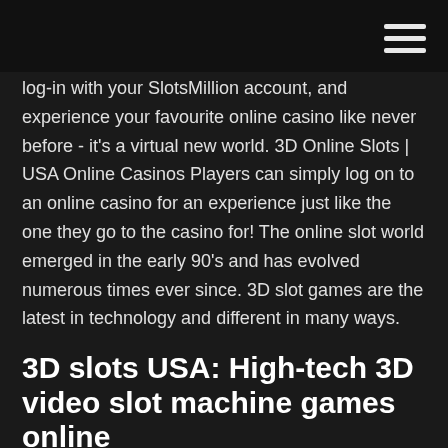log-in with your SlotsMillion account, and experience your favourite online casino like never before - it's a virtual new world. 3D Online Slots | USA Online Casinos Players can simply log on to an online casino for an experience just like the one they go to the casino for! The online slot world emerged in the early 90's and has evolved numerous times ever since. 3D slot games are the latest in technology and different in many ways.
3D slots USA: High-tech 3D video slot machine games online
Betsoft's library of instant play casino games consist of crackerjack 3D online slots, table games ( roulette,